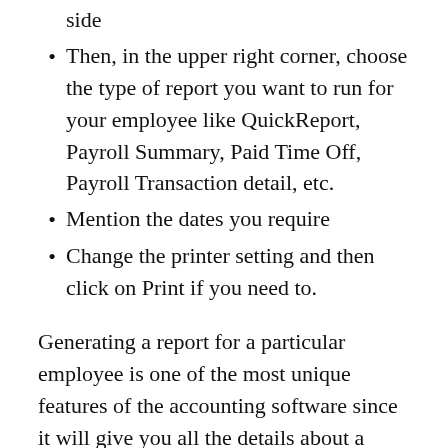side
Then, in the upper right corner, choose the type of report you want to run for your employee like QuickReport, Payroll Summary, Paid Time Off, Payroll Transaction detail, etc.
Mention the dates you require
Change the printer setting and then click on Print if you need to.
Generating a report for a particular employee is one of the most unique features of the accounting software since it will give you all the details about a particular employee and you will not have to consider the team as a whole. Small businesses have